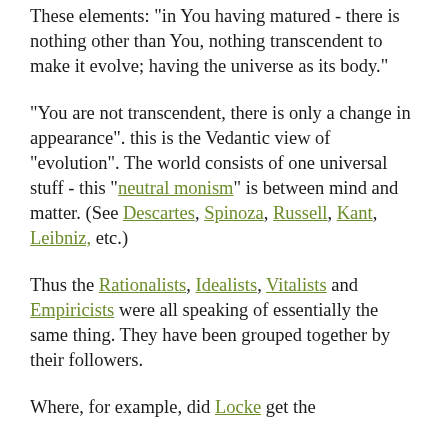These elements: "in You having matured - there is nothing other than You, nothing transcendent to make it evolve; having the universe as its body."
"You are not transcendent, there is only a change in appearance". this is the Vedantic view of "evolution". The world consists of one universal stuff - this "neutral monism" is between mind and matter. (See Descartes, Spinoza, Russell, Kant, Leibniz, etc.)
Thus the Rationalists, Idealists, Vitalists and Empiricists were all speaking of essentially the same thing. They have been grouped together by their followers.
Where, for example, did Locke get the